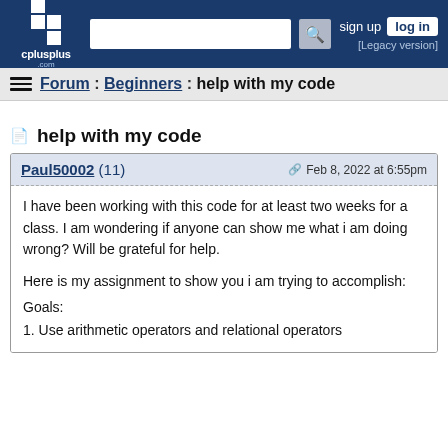cplusplus.com — sign up  log in  [Legacy version]
Forum : Beginners : help with my code
help with my code
Paul50002 (11)  Feb 8, 2022 at 6:55pm
I have been working with this code for at least two weeks for a class. I am wondering if anyone can show me what i am doing wrong? Will be grateful for help.

Here is my assignment to show you i am trying to accomplish:
Goals:
1. Use arithmetic operators and relational operators